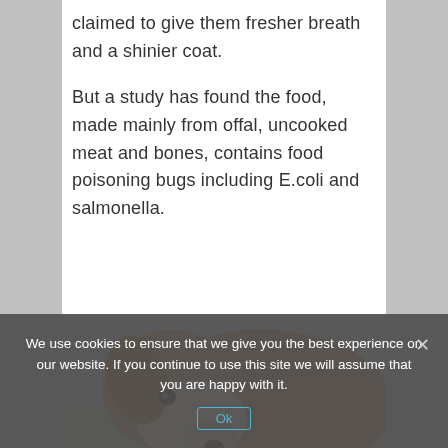claimed to give them fresher breath and a shinier coat.
But a study has found the food, made mainly from offal, uncooked meat and bones, contains food poisoning bugs including E.coli and salmonella.
[Figure (photo): A dog (beagle or similar breed) eating from a bowl, viewed from above/side, with warm brown and white tones against a light background.]
We use cookies to ensure that we give you the best experience on our website. If you continue to use this site we will assume that you are happy with it.